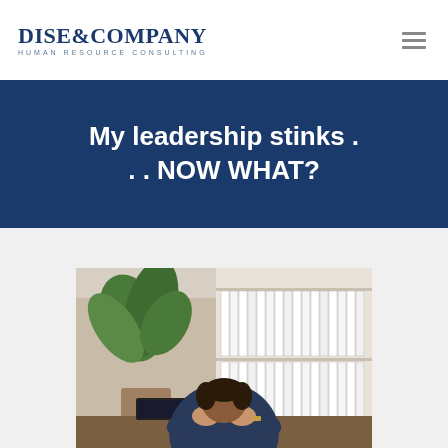Dise&Company Human Resource Consulting
My leadership stinks . . . NOW WHAT?
[Figure (photo): A man sitting at a desk with his head in his hands, appearing stressed or dejected, with a laptop in front of him and shelves of binders in the background, and a plant to the left.]